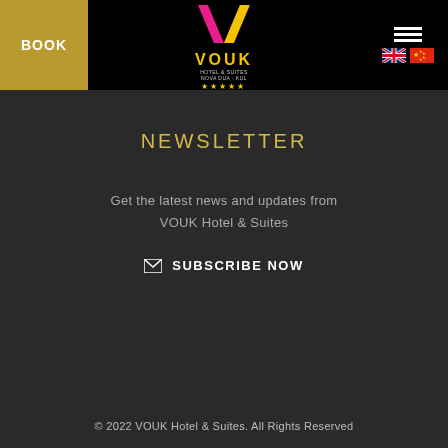BOOK | VOUK HOTEL & SUITES
NEWSLETTER
Get the latest news and updates from VOUK Hotel & Suites
SUBSCRIBE NOW
© 2022 VOUK Hotel & Suites. All Rights Reserved